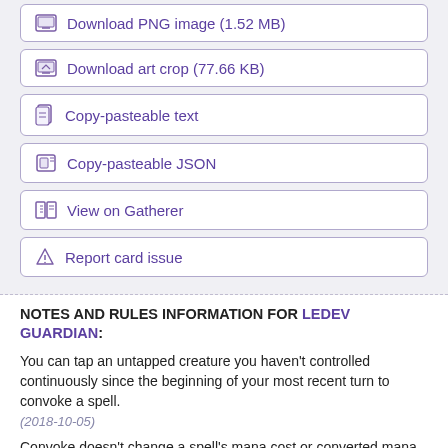Download PNG image (1.52 MB)
Download art crop (77.66 KB)
Copy-pasteable text
Copy-pasteable JSON
View on Gatherer
Report card issue
NOTES AND RULES INFORMATION FOR LEDEV GUARDIAN:
You can tap an untapped creature you haven't controlled continuously since the beginning of your most recent turn to convoke a spell.
(2018-10-05)
Convoke doesn't change a spell's mana cost or converted mana cost.
(2018-10-05)
When calculating a spell's total cost, include any alternative costs,